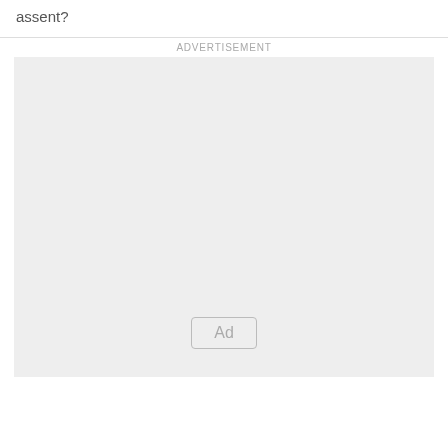assent?
[Figure (other): Advertisement placeholder box with 'Ad' button label centered near bottom]
ADVERTISEMENT